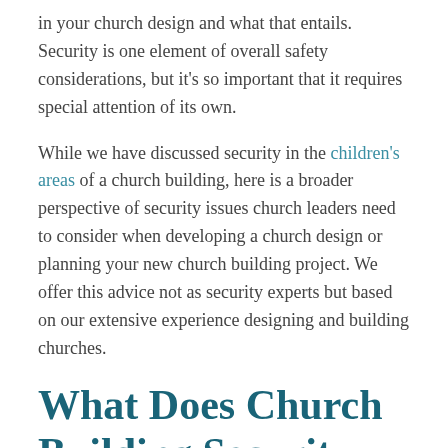in your church design and what that entails. Security is one element of overall safety considerations, but it's so important that it requires special attention of its own.
While we have discussed security in the children's areas of a church building, here is a broader perspective of security issues church leaders need to consider when developing a church design or planning your new church building project. We offer this advice not as security experts but based on our extensive experience designing and building churches.
What Does Church Building Security